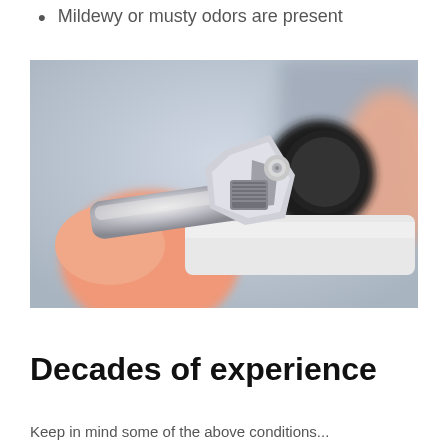Mildewy or musty odors are present
[Figure (photo): Close-up photo of a hand holding an adjustable wrench tightening a plumbing fitting against a blurred background]
Decades of experience
Keep in mind some of the above conditions...